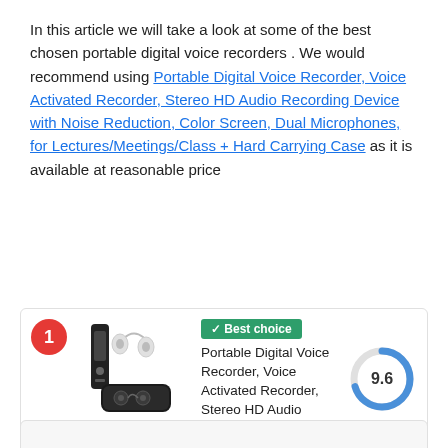In this article we will take a look at some of the best chosen portable digital voice recorders . We would recommend using Portable Digital Voice Recorder, Voice Activated Recorder, Stereo HD Audio Recording Device with Noise Reduction, Color Screen, Dual Microphones, for Lectures/Meetings/Class + Hard Carrying Case as it is available at reasonable price
[Figure (other): Product listing card with number badge '1', product image of a digital voice recorder with earphones and case, 'Best choice' green badge, product title 'Portable Digital Voice Recorder, Voice Activated Recorder, Stereo HD Audio Recording Device with...', score donut chart showing 9.6, green 'See on Amazon' button, and 'Amazon.com' label.]